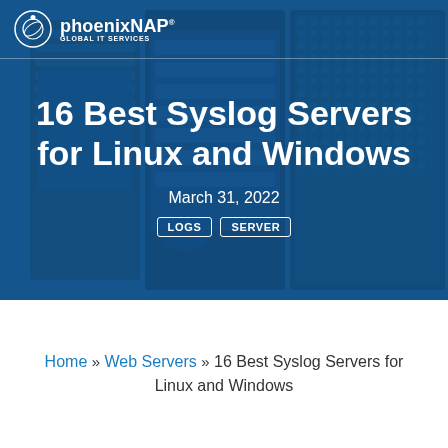phoenixNAP GLOBAL IT SERVICES
16 Best Syslog Servers for Linux and Windows
March 31, 2022
LOGS | SERVER
Home » Web Servers » 16 Best Syslog Servers for Linux and Windows